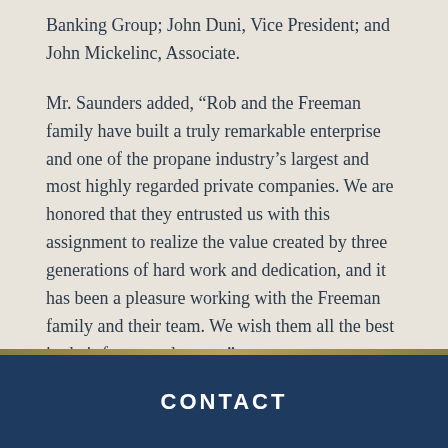Banking Group; John Duni, Vice President; and John Mickelinc, Associate.
Mr. Saunders added, “Rob and the Freeman family have built a truly remarkable enterprise and one of the propane industry’s largest and most highly regarded private companies. We are honored that they entrusted us with this assignment to realize the value created by three generations of hard work and dedication, and it has been a pleasure working with the Freeman family and their team. We wish them all the best in their future endeavors.”
Chip Presten, Lori Jones, Tracey Thompson, and Spencer Davis of Mercer Thompson LLC served as legal counsel for Freeman.
CONTACT